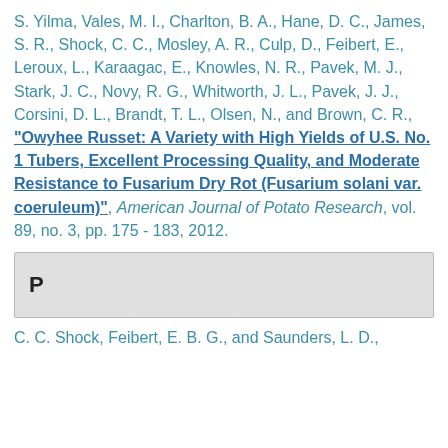S. Yilma, Vales, M. I., Charlton, B. A., Hane, D. C., James, S. R., Shock, C. C., Mosley, A. R., Culp, D., Feibert, E., Leroux, L., Karaagac, E., Knowles, N. R., Pavek, M. J., Stark, J. C., Novy, R. G., Whitworth, J. L., Pavek, J. J., Corsini, D. L., Brandt, T. L., Olsen, N., and Brown, C. R., "Owyhee Russet: A Variety with High Yields of U.S. No. 1 Tubers, Excellent Processing Quality, and Moderate Resistance to Fusarium Dry Rot (Fusarium solani var. coeruleum)", American Journal of Potato Research, vol. 89, no. 3, pp. 175 - 183, 2012.
P
C. C. Shock, Feibert, E. B. G., and Saunders, L. D.,